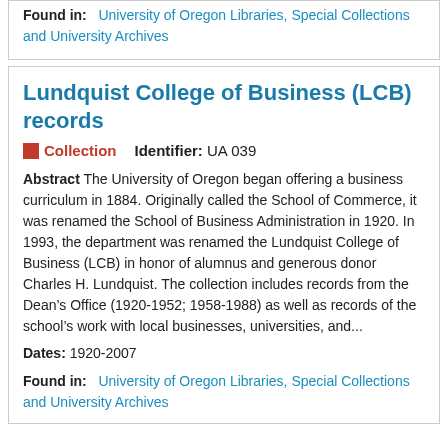Found in: University of Oregon Libraries, Special Collections and University Archives
Lundquist College of Business (LCB) records
Collection   Identifier: UA 039
Abstract The University of Oregon began offering a business curriculum in 1884. Originally called the School of Commerce, it was renamed the School of Business Administration in 1920. In 1993, the department was renamed the Lundquist College of Business (LCB) in honor of alumnus and generous donor Charles H. Lundquist. The collection includes records from the Dean’s Office (1920-1952; 1958-1988) as well as records of the school’s work with local businesses, universities, and...
Dates: 1920-2007
Found in: University of Oregon Libraries, Special Collections and University Archives